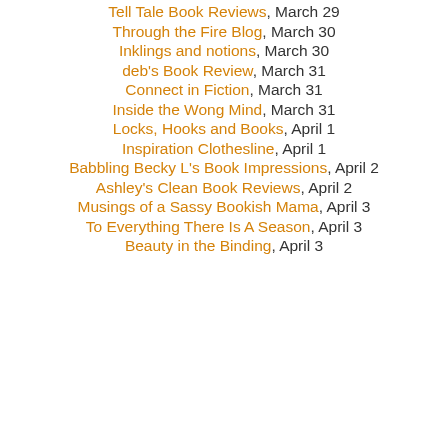Tell Tale Book Reviews, March 29
Through the Fire Blog, March 30
Inklings and notions, March 30
deb's Book Review, March 31
Connect in Fiction, March 31
Inside the Wong Mind, March 31
Locks, Hooks and Books, April 1
Inspiration Clothesline, April 1
Babbling Becky L's Book Impressions, April 2
Ashley's Clean Book Reviews, April 2
Musings of a Sassy Bookish Mama, April 3
To Everything There Is A Season, April 3
Beauty in the Binding, April 3